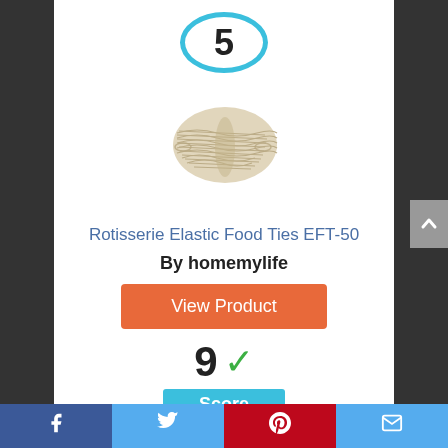5
[Figure (photo): Bundle of rotisserie elastic food ties, beige/cream colored]
Rotisserie Elastic Food Ties EFT-50
By homemylife
View Product
9 ✓
Score
Facebook  Twitter  Pinterest  Email